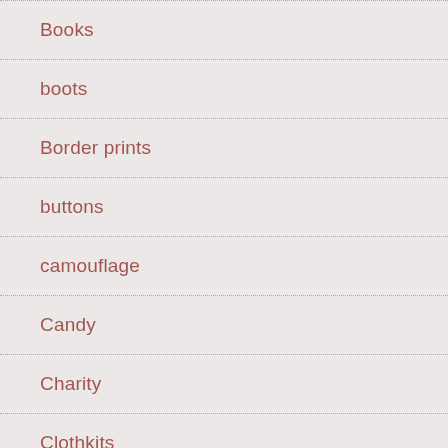Books
boots
Border prints
buttons
camouflage
Candy
Charity
Clothkits
Comic Con
Costumes